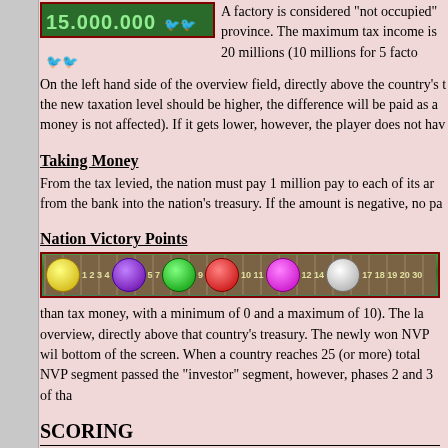[Figure (screenshot): Game UI showing currency display: 15.000.000 with green coin icons on dark green background]
A factory is considered "not occupied" province. The maximum tax income is 20 millions (10 millions for 5 facto
On the left hand side of the overview field, directly above the country's t the new taxation level should be higher, the difference will be paid as a money is not affected). If it gets lower, however, the player does not hav
Taking Money
From the tax levied, the nation must pay 1 million pay to each of its ar from the bank into the nation's treasury. If the amount is negative, no pa
Nation Victory Points
[Figure (screenshot): Game UI showing a victory points track bar with colored token pieces (yellow, purple, green, red, magenta, silver) on a wooden-textured background with numbered segments]
than tax money, with a minimum of 0 and a maximum of 10). The la overview, directly above that country's treasury. The newly won NVP wil bottom of the screen. When a country reaches 25 (or more) total NVP segment passed the "investor" segment, however, phases 2 and 3 of tha
SCORING
Scoring at the end of the game is calculated as follows:
Depending upon how many Victory Points each Nation reaches they sc